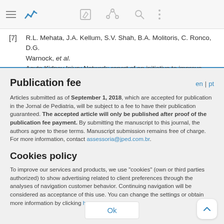[Figure (screenshot): Mobile app navigation bar with hamburger menu, blue chart icon, edit icon, share icon, search icon, and more options icon]
[7]   R.L. Mehata, J.A. Kellum, S.V. Shah, B.A. Molitoris, C. Ronco, D.G. Warnock, et al.
Acute Kidney Injury Network: report of an initiative to improve
Publication fee
en | pt
Articles submitted as of September 1, 2018, which are accepted for publication in the Jornal de Pediatria, will be subject to a fee to have their publication guaranteed. The accepted article will only be published after proof of the publication fee payment. By submitting the manuscript to this journal, the authors agree to these terms. Manuscript submission remains free of charge. For more information, contact assessoria@jped.com.br.
Cookies policy
To improve our services and products, we use "cookies" (own or third parties authorized) to show advertising related to client preferences through the analyses of navigation customer behavior. Continuing navigation will be considered as acceptance of this use. You can change the settings or obtain more information by clicking here.